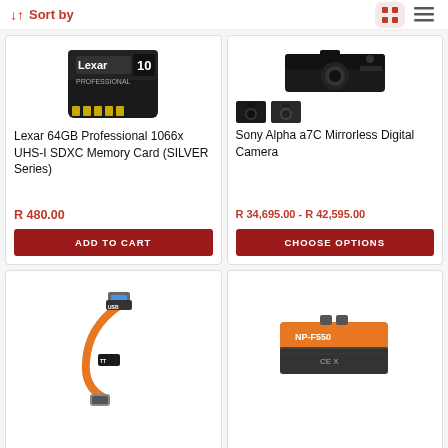Sort by
[Figure (photo): Lexar 64GB Professional 1066x UHS-I SDXC Memory Card (SILVER Series) product image]
Lexar 64GB Professional 1066x UHS-I SDXC Memory Card (SILVER Series)
R 480.00
ADD TO CART
[Figure (photo): Sony Alpha a7C Mirrorless Digital Camera product image with two color variant thumbnails]
Sony Alpha a7C Mirrorless Digital Camera
R 34,695.00 - R 42,595.00
CHOOSE OPTIONS
[Figure (photo): Orange USB cable product image]
[Figure (photo): Orange and black battery product image]